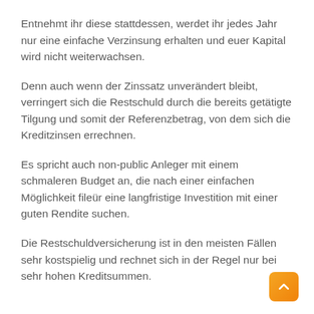Entnehmt ihr diese stattdessen, werdet ihr jedes Jahr nur eine einfache Verzinsung erhalten und euer Kapital wird nicht weiterwachsen.
Denn auch wenn der Zinssatz unverändert bleibt, verringert sich die Restschuld durch die bereits getätigte Tilgung und somit der Referenzbetrag, von dem sich die Kreditzinsen errechnen.
Es spricht auch non-public Anleger mit einem schmaleren Budget an, die nach einer einfachen Möglichkeit fileür eine langfristige Investition mit einer guten Rendite suchen.
Die Restschuldversicherung ist in den meisten Fällen sehr kostspielig und rechnet sich in der Regel nur bei sehr hohen Kreditsummen.